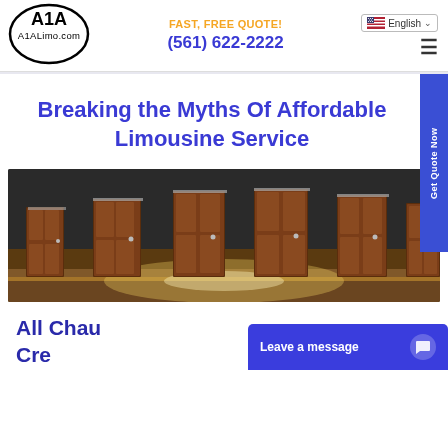[Figure (logo): A1A Limo.com logo in an oval shape]
English
FAST, FREE QUOTE!
(561) 622-2222
Breaking the Myths Of Affordable Limousine Service
[Figure (photo): Row of brown wooden doors in a dark corridor with light reflection on floor]
All Chau... Cre...
Leave a message